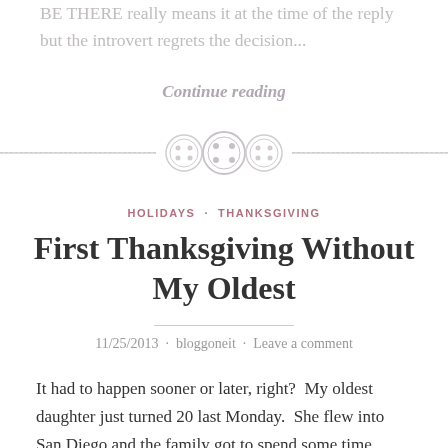BE THERE really means it at the time of the reply but the introvert regrets the decision...
Continue reading
[Figure (illustration): Decorative divider with three button-like circular icons and a dashed horizontal line]
HOLIDAYS · THANKSGIVING
First Thanksgiving Without My Oldest
11/25/2013 · bloggoneit · Leave a comment
It had to happen sooner or later, right?  My oldest daughter just turned 20 last Monday.  She flew into San Diego and the family got to spend some time together to open presents, eat cake,